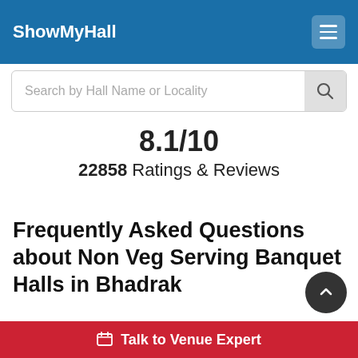ShowMyHall
Search by Hall Name or Locality
8.1/10
22858 Ratings & Reviews
Frequently Asked Questions about Non Veg Serving Banquet Halls in Bhadrak
Are there 5 star hotels or 3 star hotels in Bhadrak Non Veg Serving Banquet Halls?
Talk to Venue Expert